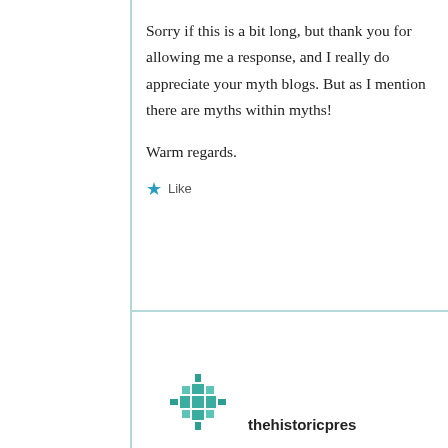Sorry if this is a bit long, but thank you for allowing me a response, and I really do appreciate your myth blogs. But as I mention there are myths within myths!
Warm regards.
Like
[Figure (logo): Teal/green snowflake or quilt-pattern avatar icon for user thehistoricpres]
thehistoricpres